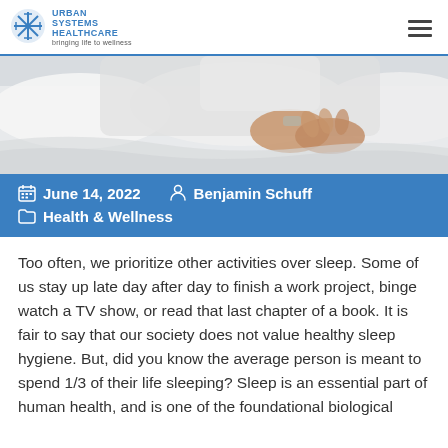Urban Systems Healthcare — Bringing Life to Wellness
[Figure (photo): Person lying in bed with white sheets and pillows, hands visible resting on covers]
June 14, 2022   Benjamin Schuff   Health & Wellness
Too often, we prioritize other activities over sleep. Some of us stay up late day after day to finish a work project, binge watch a TV show, or read that last chapter of a book. It is fair to say that our society does not value healthy sleep hygiene. But, did you know the average person is meant to spend 1/3 of their life sleeping? Sleep is an essential part of human health, and is one of the foundational biological